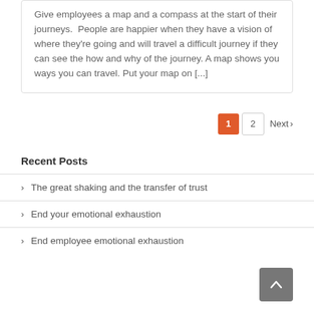Give employees a map and a compass at the start of their journeys.  People are happier when they have a vision of where they're going and will travel a difficult journey if they can see the how and why of the journey. A map shows you ways you can travel. Put your map on [...]
1 2 Next >
Recent Posts
The great shaking and the transfer of trust
End your emotional exhaustion
End employee emotional exhaustion